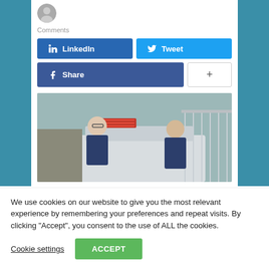[Figure (photo): Small circular avatar/profile photo of a person]
Comments
[Figure (infographic): Social sharing buttons: LinkedIn (blue), Tweet (light blue), Share/Facebook (dark blue), and a plus (+) button]
[Figure (photo): Two men in navy jackets standing in front of a white van near a metal fence outdoors]
We use cookies on our website to give you the most relevant experience by remembering your preferences and repeat visits. By clicking “Accept”, you consent to the use of ALL the cookies.
Cookie settings
ACCEPT